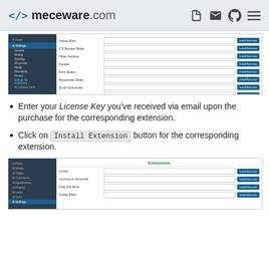meceware.com
[Figure (screenshot): WordPress admin Settings panel showing extension license key input fields with Install Extension buttons]
Enter your License Key you've received via email upon the purchase for the corresponding extension.
Click on Install Extension button for the corresponding extension.
[Figure (screenshot): WordPress admin Settings panel showing Extensions section with Combo, Continuous Horizontal, Drag and Move, Fading Effect rows and Install Extension buttons]